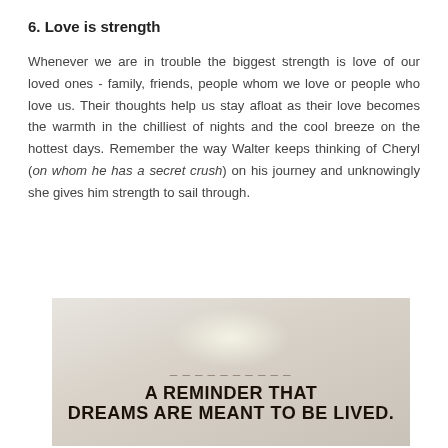6. Love is strength
Whenever we are in trouble the biggest strength is love of our loved ones - family, friends, people whom we love or people who love us. Their thoughts help us stay afloat as their love becomes the warmth in the chilliest of nights and the cool breeze on the hottest days. Remember the way Walter keeps thinking of Cheryl (on whom he has a secret crush) on his journey and unknowingly she gives him strength to sail through.
[Figure (illustration): Motivational quote image with light beige/tan background and a subtle glow effect. Text reads 'A REMINDER THAT DREAMS ARE MEANT TO BE LIVED.' in bold uppercase letters, with a small decorative line above the main text.]